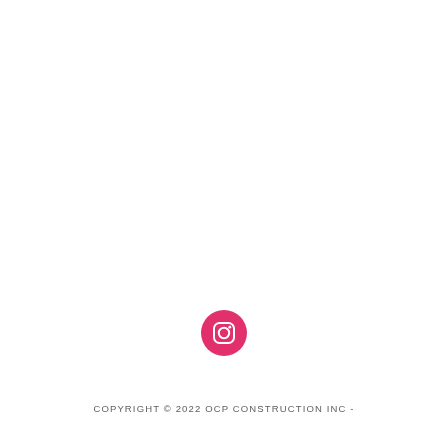[Figure (logo): Instagram icon — pink/red circular badge with white Instagram camera outline in the center]
COPYRIGHT © 2022 OCP CONSTRUCTION INC -